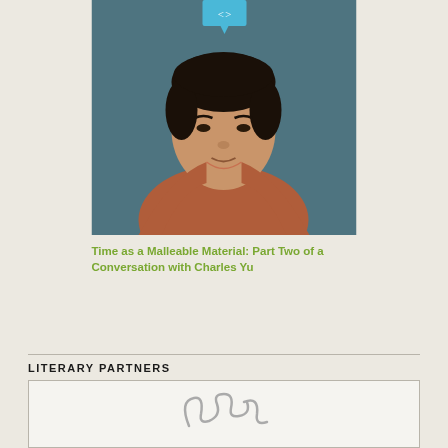[Figure (photo): Portrait photo of Charles Yu, a young Asian man wearing a rust/terracotta colored sweater, against a teal/dark blue-gray background. A blue speech bubble logo appears at the top.]
Time as a Malleable Material: Part Two of a Conversation with Charles Yu
LITERARY PARTNERS
[Figure (logo): Literary partner logo displayed in a bordered box, showing a stylized cursive/script graphic mark in gray.]